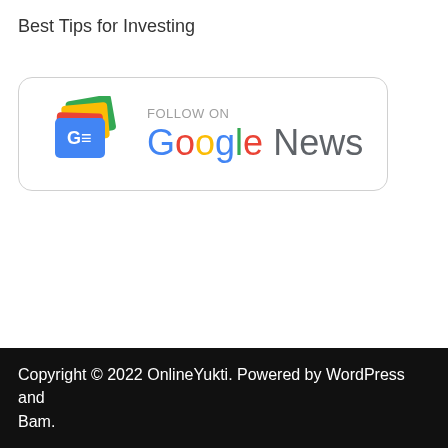Best Tips for Investing
[Figure (logo): Follow on Google News badge with Google News icon and text 'FOLLOW ON Google News']
Copyright © 2022 OnlineYukti. Powered by WordPress and Bam.